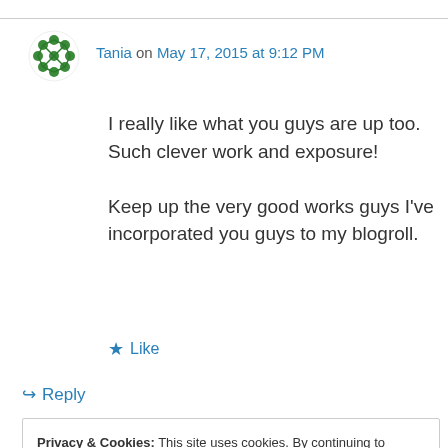Tania on May 17, 2015 at 9:12 PM
I really like what you guys are up too. Such clever work and exposure!
Keep up the very good works guys I've incorporated you guys to my blogroll.
★ Like
↪ Reply
Privacy & Cookies: This site uses cookies. By continuing to use this website, you agree to their use.
To find out more, including how to control cookies, see here: Cookie Policy